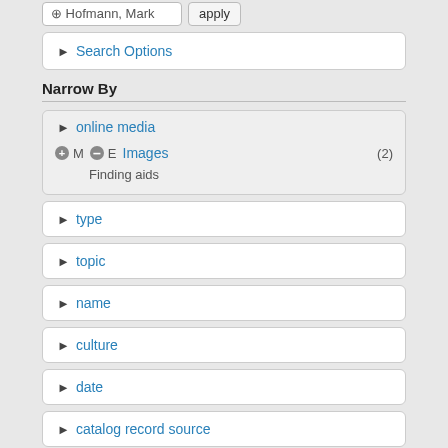Hofmann, Mark | Apply
Search Options
Narrow By
online media
Images (2)
Finding aids
type
topic
name
culture
date
catalog record source